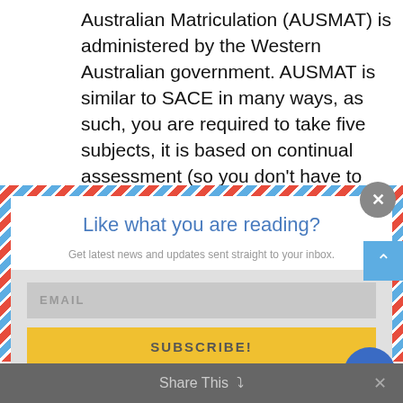Australian Matriculation (AUSMAT) is administered by the Western Australian government. AUSMAT is similar to SACE in many ways, as such, you are required to take five subjects, it is based on continual assessment (so you don't have to worry...
[Figure (screenshot): Email newsletter subscription popup modal with airmail-style red/white/blue diagonal stripe border. Contains title 'Like what you are reading?', subtitle 'Get latest news and updates sent straight to your inbox.', an EMAIL input field, a SUBSCRIBE! button, a close X button, scroll-up arrow, chat bubble icon, and a Share This bar at the bottom.]